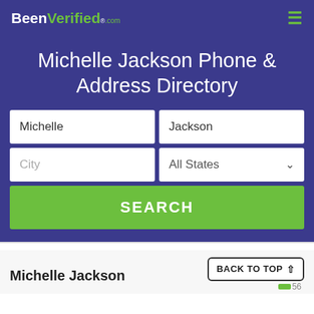BeenVerified.com
Michelle Jackson Phone & Address Directory
Michelle
Jackson
City
All States
SEARCH
Michelle Jackson
BACK TO TOP ↑